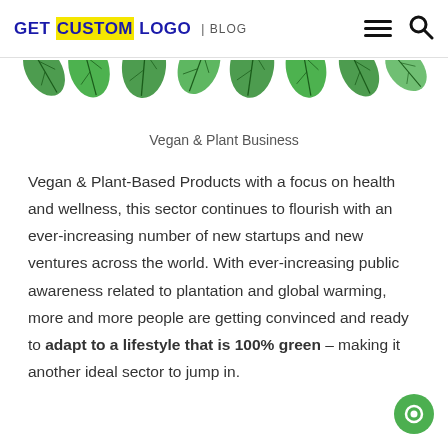GET CUSTOM LOGO | BLOG
[Figure (illustration): Decorative green leaves/plant illustrations as a banner strip]
Vegan & Plant Business
Vegan & Plant-Based Products with a focus on health and wellness, this sector continues to flourish with an ever-increasing number of new startups and new ventures across the world. With ever-increasing public awareness related to plantation and global warming, more and more people are getting convinced and ready to adapt to a lifestyle that is 100% green – making it another ideal sector to jump in.